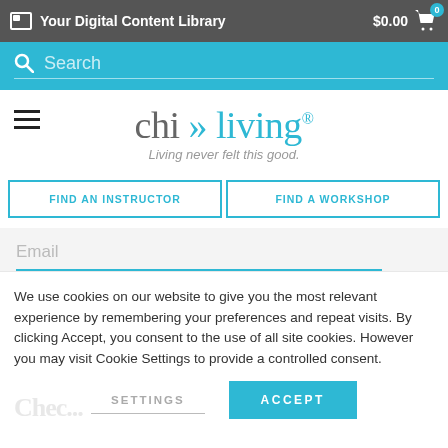Your Digital Content Library  $0.00
Search
[Figure (logo): chi » living® logo with tagline 'Living never felt this good.']
FIND AN INSTRUCTOR
FIND A WORKSHOP
Email
We use cookies on our website to give you the most relevant experience by remembering your preferences and repeat visits. By clicking Accept, you consent to the use of all site cookies. However you may visit Cookie Settings to provide a controlled consent.
SETTINGS
ACCEPT